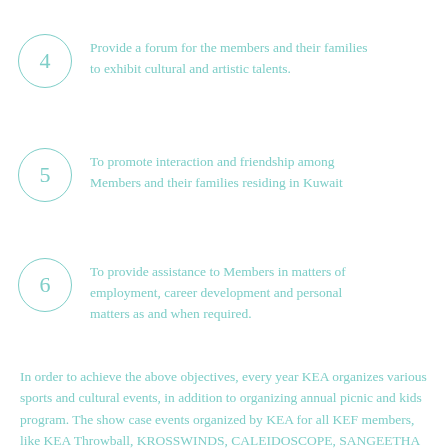4 — Provide a forum for the members and their families to exhibit cultural and artistic talents.
5 — To promote interaction and friendship among Members and their families residing in Kuwait
6 — To provide assistance to Members in matters of employment, career development and personal matters as and when required.
In order to achieve the above objectives, every year KEA organizes various sports and cultural events, in addition to organizing annual picnic and kids program. The show case events organized by KEA for all KEF members, like KEA Throwball, KROSSWINDS, CALEIDOSCOPE, SANGEETHA